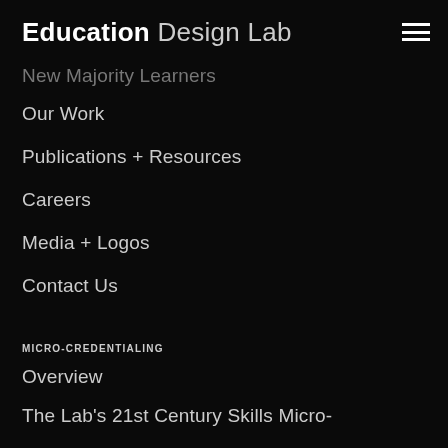Education Design Lab
New Majority Learners
Our Work
Publications + Resources
Careers
Media + Logos
Contact Us
MICRO-CREDENTIALING
Overview
The Lab's 21st Century Skills Micro-